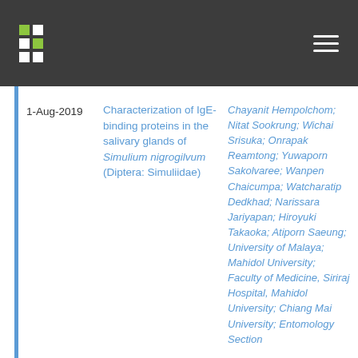Navigation bar with logo and menu
1-Aug-2019
Characterization of IgE-binding proteins in the salivary glands of Simulium nigrogilvum (Diptera: Simuliidae)
Chayanit Hempolchom; Nitat Sookrung; Wichai Srisuka; Onrapak Reamtong; Yuwaporn Sakolvaree; Wanpen Chaicumpa; Watcharatip Dedkhad; Narissara Jariyapan; Hiroyuki Takaoka; Atiporn Saeung; University of Malaya; Mahidol University; Faculty of Medicine, Siriraj Hospital, Mahidol University; Chiang Mai University; Entomology Section